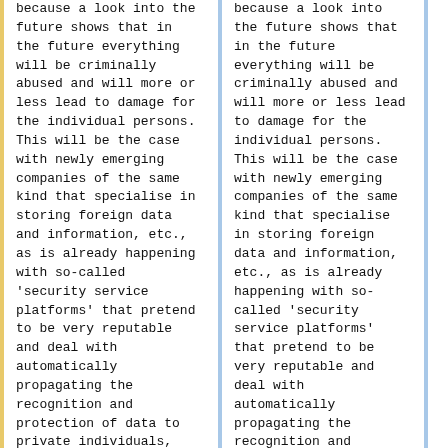because a look into the future shows that in the future everything will be criminally abused and will more or less lead to damage for the individual persons. This will be the case with newly emerging companies of the same kind that specialise in storing foreign data and information, etc., as is already happening with so-called 'security service platforms' that pretend to be very reputable and deal with automatically propagating the recognition and protection of data to private individuals, companies and
because a look into the future shows that in the future everything will be criminally abused and will more or less lead to damage for the individual persons. This will be the case with newly emerging companies of the same kind that specialise in storing foreign data and information, etc., as is already happening with so-called 'security service platforms' that pretend to be very reputable and deal with automatically propagating the recognition and protection of data to private individuals, companies and